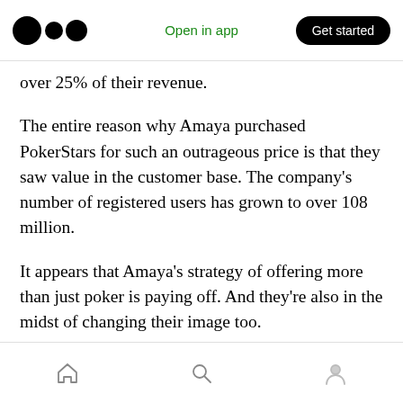Medium app header — logo, Open in app, Get started
over 25% of their revenue.
The entire reason why Amaya purchased PokerStars for such an outrageous price is that they saw value in the customer base. The company's number of registered users has grown to over 108 million.
It appears that Amaya's strategy of offering more than just poker is paying off. And they're also in the midst of changing their image too.
The company will soon change its name to the
Bottom navigation bar — home, search, profile